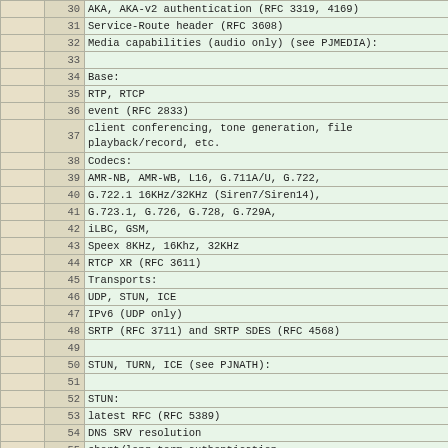|  | No. | Description |
| --- | --- | --- |
|  | 30 | AKA, AKA-v2 authentication (RFC 3319, 4169) |
|  | 31 | Service-Route header (RFC 3608) |
|  | 32 | Media capabilities (audio only) (see PJMEDIA): |
|  | 33 |  |
|  | 34 | Base: |
|  | 35 | RTP, RTCP |
|  | 36 | event (RFC 2833) |
|  | 37 | client conferencing, tone generation, file playback/record, etc. |
|  | 38 | Codecs: |
|  | 39 | AMR-NB, AMR-WB, L16, G.711A/U, G.722, |
|  | 40 | G.722.1 16KHz/32KHz (Siren7/Siren14), |
|  | 41 | G.723.1, G.726, G.728, G.729A, |
|  | 42 | iLBC, GSM, |
|  | 43 | Speex 8KHz, 16Khz, 32KHz |
|  | 44 | RTCP XR (RFC 3611) |
|  | 45 | Transports: |
|  | 46 | UDP, STUN, ICE |
|  | 47 | IPv6 (UDP only) |
|  | 48 | SRTP (RFC 3711) and SRTP SDES (RFC 4568) |
|  | 49 |  |
|  | 50 | STUN, TURN, ICE (see PJNATH): |
|  | 51 |  |
|  | 52 | STUN: |
|  | 53 | latest RFC (RFC 5389) |
|  | 54 | DNS SRV resolution |
|  | 55 | short/long term authentication |
|  | 56 | fingerprint |
|  | 57 | TURN: |
|  | 58 | latest draft (RFC-to-be 5766) |
|  | 59 | DNS SRV resolution |
|  | 60 | UDP and TCP client connection |